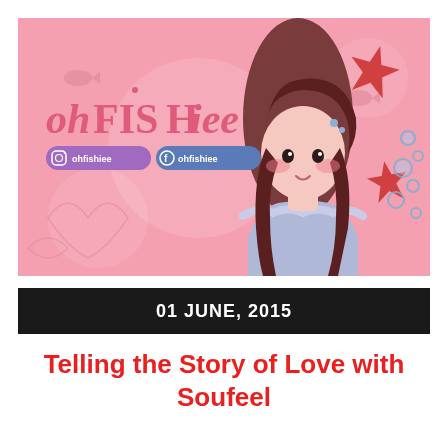[Figure (illustration): OhFISHiee blog banner with pink ocean-themed background, illustrated anime-style girl with long brown hair wearing off-shoulder blue dress, red starfish, blue bubbles, fish silhouettes. Brand name 'ohFISHiee' in pink italic text with Instagram and Facebook handles shown as social buttons.]
01 JUNE, 2015
Telling the Story of Love with Soufeel